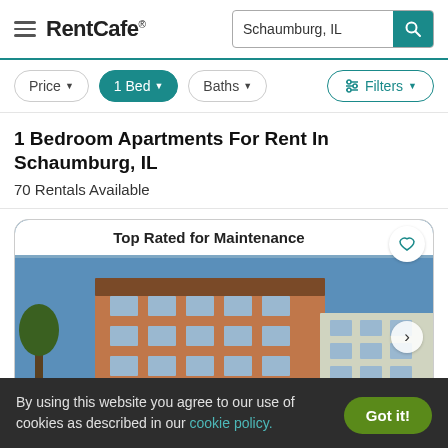RentCafe — Schaumburg, IL search
Price, 1 Bed, Baths, Filters
1 Bedroom Apartments For Rent In Schaumburg, IL
70 Rentals Available
[Figure (photo): Apartment building exterior photo with 'Top Rated for Maintenance' badge and heart icon]
By using this website you agree to our use of cookies as described in our cookie policy.